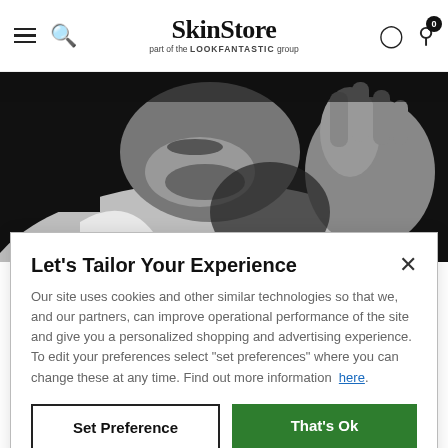SkinStore — part of the LOOKFANTASTIC group
[Figure (photo): Black and white close-up photo of a man in a white shirt with his hand raised near his face, against a dark background.]
Let's Tailor Your Experience
Our site uses cookies and other similar technologies so that we, and our partners, can improve operational performance of the site and give you a personalized shopping and advertising experience. To edit your preferences select "set preferences" where you can change these at any time. Find out more information here.